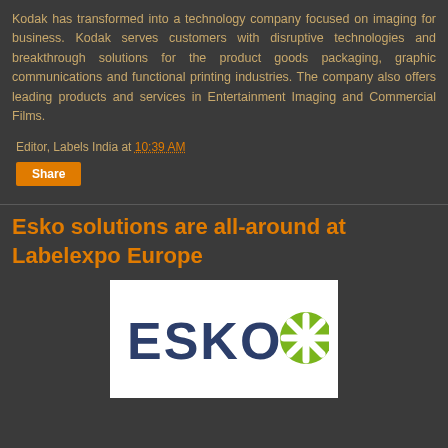Kodak has transformed into a technology company focused on imaging for business. Kodak serves customers with disruptive technologies and breakthrough solutions for the product goods packaging, graphic communications and functional printing industries. The company also offers leading products and services in Entertainment Imaging and Commercial Films.
Editor, Labels India at 10:39 AM
Share
Esko solutions are all-around at Labelexpo Europe
[Figure (logo): Esko logo — white background with dark navy 'ESKO' text and a green asterisk/snowflake icon to the right]